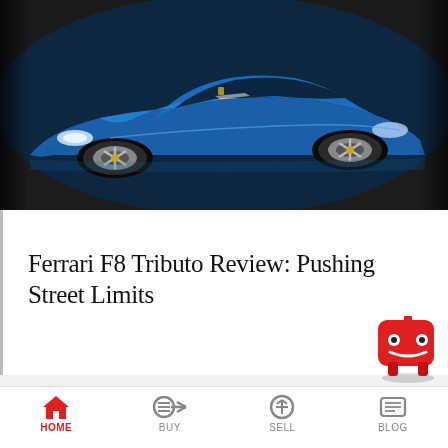[Figure (photo): Blue Ferrari F8 Tributo sports car photographed from front-left angle on dark asphalt background]
Ferrari F8 Tributo Review: Pushing Street Limits
[Figure (infographic): Promotional banner with light gray background: 'Sell or trade your car — Get a real offer, We'll even pick up your car.']
HOME  BUY  SELL  BLOG